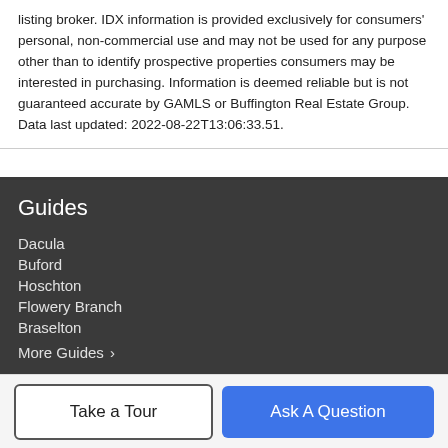listing broker. IDX information is provided exclusively for consumers' personal, non-commercial use and may not be used for any purpose other than to identify prospective properties consumers may be interested in purchasing. Information is deemed reliable but is not guaranteed accurate by GAMLS or Buffington Real Estate Group. Data last updated: 2022-08-22T13:06:33.51.
Guides
Dacula
Buford
Hoschton
Flowery Branch
Braselton
More Guides ›
Take a Tour
Ask A Question